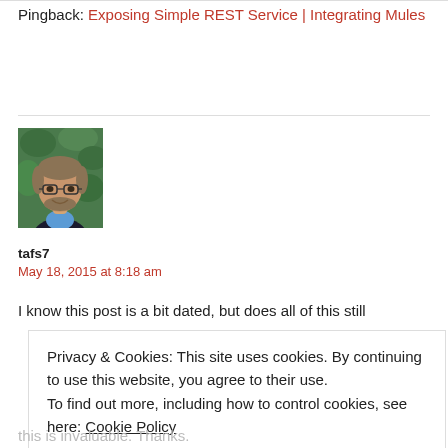Pingback: Exposing Simple REST Service | Integrating Mules
[Figure (photo): Headshot of a man with glasses and a beard, wearing a blue shirt and dark jacket, in front of green foliage.]
tafs7
May 18, 2015 at 8:18 am
I know this post is a bit dated, but does all of this still
Privacy & Cookies: This site uses cookies. By continuing to use this website, you agree to their use.
To find out more, including how to control cookies, see here: Cookie Policy
CLOSE AND ACCEPT
this is invaluable. Thanks.